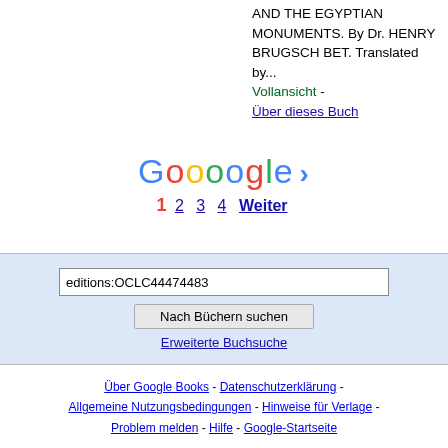AND THE EGYPTIAN MONUMENTS. By Dr. HENRY BRUGSCH BET. Translated by... Vollansicht - Über dieses Buch
[Figure (logo): Google pagination logo with page numbers 1 2 3 4 and Weiter link]
editions:OCLC44474483
Nach Büchern suchen
Erweiterte Buchsuche
Über Google Books - Datenschutzerklärung - Allgemeine Nutzungsbedingungen - Hinweise für Verlage - Problem melden - Hilfe - Google-Startseite